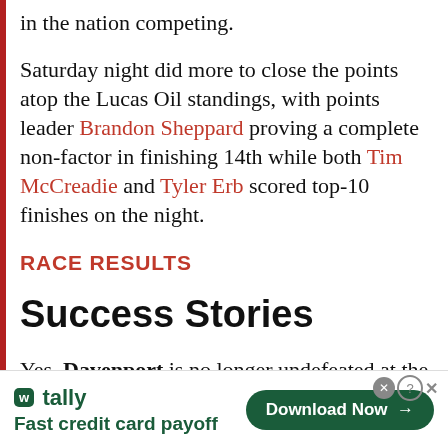in the nation competing.
Saturday night did more to close the points atop the Lucas Oil standings, with points leader Brandon Sheppard proving a complete non-factor in finishing 14th while both Tim McCreadie and Tyler Erb scored top-10 finishes on the night.
RACE RESULTS
Success Stories
Yes, Davenport is no longer undefeated at the new West Virginia Motor Speedway, but
[Figure (other): Tally app advertisement banner: 'Fast credit card payoff' with Download Now button]